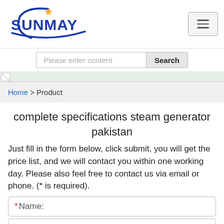[Figure (logo): Sunmay company logo with blue arc and orange star, bold blue SUNMAY text]
Please enter content
Search
[Figure (photo): Small banner image at top of page content area]
Home > Product
complete specifications steam generator pakistan
Just fill in the form below, click submit, you will get the price list, and we will contact you within one working day. Please also feel free to contact us via email or phone. (* is required).
* Name: